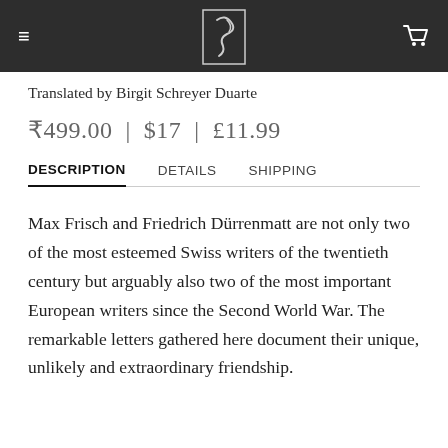≡  [logo]  🛒
Translated by Birgit Schreyer Duarte
₹499.00  |  $17  |  £11.99
DESCRIPTION   DETAILS   SHIPPING
Max Frisch and Friedrich Dürrenmatt are not only two of the most esteemed Swiss writers of the twentieth century but arguably also two of the most important European writers since the Second World War. The remarkable letters gathered here document their unique, unlikely and extraordinary friendship.